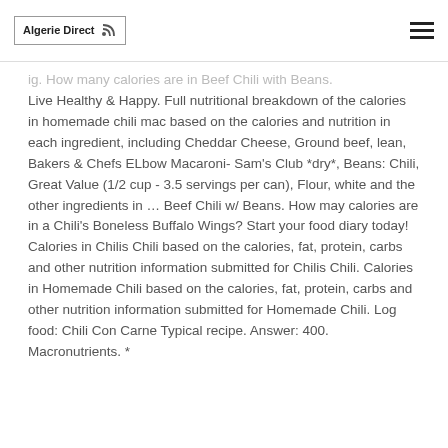Algerie Direct
ig. How many calories are in Beef Chili with Beans. Live Healthy & Happy. Full nutritional breakdown of the calories in homemade chili mac based on the calories and nutrition in each ingredient, including Cheddar Cheese, Ground beef, lean, Bakers & Chefs ELbow Macaroni- Sam's Club *dry*, Beans: Chili, Great Value (1/2 cup - 3.5 servings per can), Flour, white and the other ingredients in … Beef Chili w/ Beans. How may calories are in a Chili's Boneless Buffalo Wings? Start your food diary today! Calories in Chilis Chili based on the calories, fat, protein, carbs and other nutrition information submitted for Chilis Chili. Calories in Homemade Chili based on the calories, fat, protein, carbs and other nutrition information submitted for Homemade Chili. Log food: Chili Con Carne Typical recipe. Answer: 400. Macronutrients. *